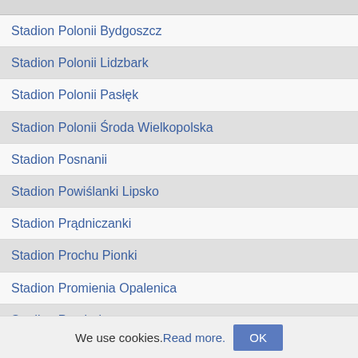Stadion Polonii Bydgoszcz
Stadion Polonii Lidzbark
Stadion Polonii Pasłęk
Stadion Polonii Środa Wielkopolska
Stadion Posnanii
Stadion Powiślanki Lipsko
Stadion Prądniczanki
Stadion Prochu Pionki
Stadion Promienia Opalenica
Stadion Przeboju
Stadion Przemszy Siewierz
Stadion Radomiaka
Stadion RCS Lubin
Stadion Rekordu Bielsko-Biała
Stadion Resovii
We use cookies. Read more. OK